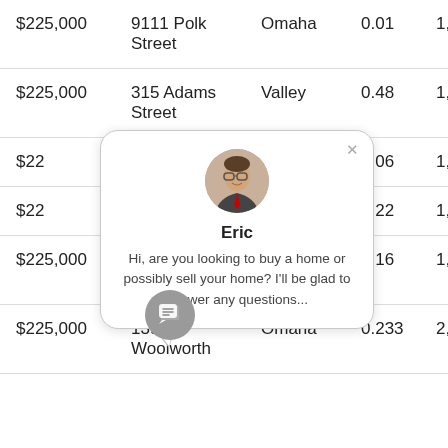| Price | Address | City | Lot Size | Sq Ft |
| --- | --- | --- | --- | --- |
| $225,000 | 9111 Polk Street | Omaha | 0.01 | 1,5… |
| $225,000 | 315 Adams Street | Valley | 0.48 | 1,5… |
| $22… | (partially hidden) | …a | 0.06 | 1,5… |
| $22… | (partially hidden) | …a | 0.22 | 1,6… |
| $225,000 | 8408 Baker Street | Omaha | 0.16 | 1,5… |
| $225,000 | 13967 Woolworth | Omaha | 0.233 | 2,2… |
[Figure (screenshot): Chat popup overlay showing agent named Eric with avatar photo, text: 'Hi, are you looking to buy a home or possibly sell your home? I'll be glad to answer any questions...' with close button, and a chat icon button below.]